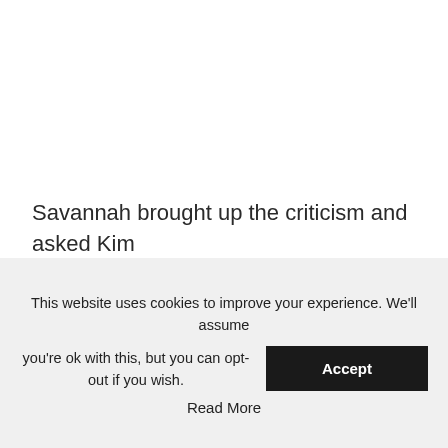Savannah brought up the criticism and asked Kim
This website uses cookies to improve your experience. We'll assume you're ok with this, but you can opt-out if you wish. Accept Read More